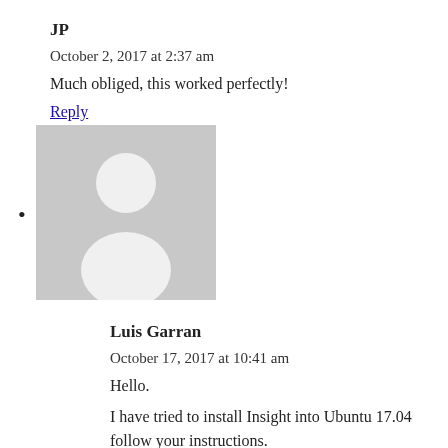JP
October 2, 2017 at 2:37 am
Much obliged, this worked perfectly!
Reply
[Figure (illustration): Generic user avatar placeholder image — grey silhouette of a person on a light grey background]
Luis Garran
October 17, 2017 at 10:41 am
Hello.
I have tried to install Insight into Ubuntu 17.04 follow your instructions.
Everything works well till point 10 “Make”.
I get this error: